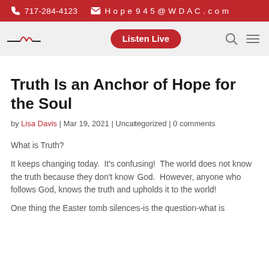717-284-4123  Hope945@WDAC.com
[Figure (logo): WDAC radio station logo with wave graphic and Listen Live button navigation bar]
Truth Is an Anchor of Hope for the Soul
by Lisa Davis | Mar 19, 2021 | Uncategorized | 0 comments
What is Truth?
It keeps changing today.  It’s confusing!  The world does not know the truth because they don’t know God.  However, anyone who follows God, knows the truth and upholds it to the world!
One thing the Easter tomb silences-is the question-what is